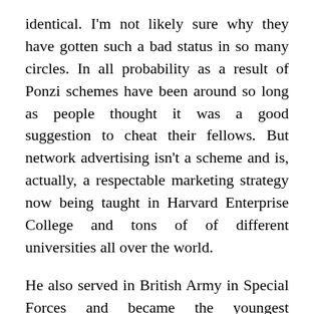identical. I'm not likely sure why they have gotten such a bad status in so many circles. In all probability as a result of Ponzi schemes have been around so long as people thought it was a good suggestion to cheat their fellows. But network advertising isn't a scheme and is, actually, a respectable marketing strategy now being taught in Harvard Enterprise College and tons of of different universities all over the world.
He also served in British Army in Special Forces and became the youngest Englishman to return back alive after scaling Mount Ama Dablan and Mount Everest. Bear Grylls has also confronted the extraordinary warmth of the Moab Desert of Utah. He additionally survived from a free fall parachuting occasion, which literally broke his